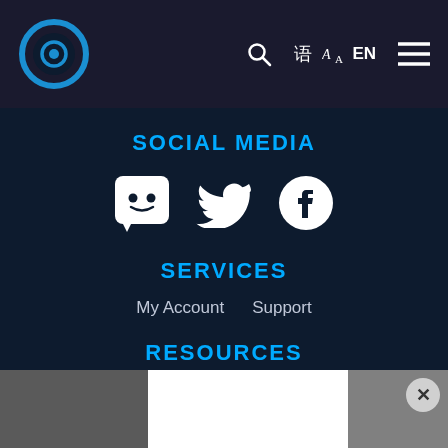[Figure (logo): Circular logo with blue ring and diamond shape center, on dark navy background nav bar]
SOCIAL MEDIA
[Figure (illustration): Three social media icons: Discord, Twitter, Facebook — white icons on dark background]
SERVICES
My Account    Support
RESOURCES
Terms of Service    Privacy Policy
OUR COMMUNITIES
MMO-Champion